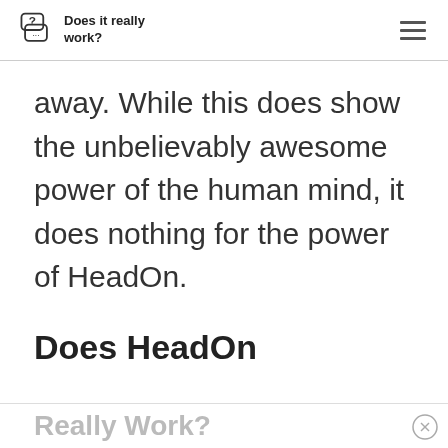Does it really work?
away. While this does show the unbelievably awesome power of the human mind, it does nothing for the power of HeadOn.
Does HeadOn
Really Work?